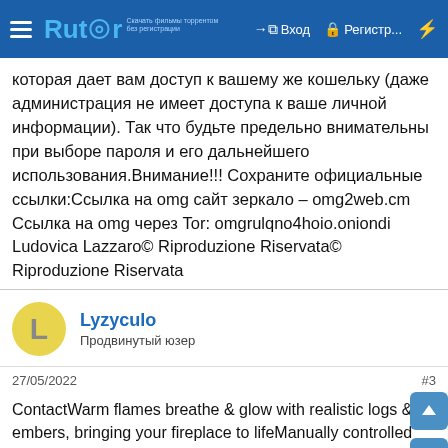Rutor — Вход — Регистр...
которая дает вам доступ к вашему же кошельку (даже администрация не имеет доступа к ваше личной информации). Так что будьте предельно внимательны при выборе пароля и его дальнейшего использования.Внимание!!! Сохраните официальные ссылки:Ссылка на omg сайт зеркало – omg2web.cm Ссылка на omg через Tor: omgrulqno4hoio.oniondi Ludovica Lazzaro© Riproduzione Riservata© Riproduzione Riservata
Lyzyculo
Продвинутый юзер
27/05/2022
#3
ContactWarm flames breathe & glow with realistic logs & embers, bringing your fireplace to lifeManually controlled Vented log sets are perfect for chimneyed fireplacesVent-Free logs are a great option where you don't have a flu. Models include Thermostat, Remote, or Manual controlsRemote models have